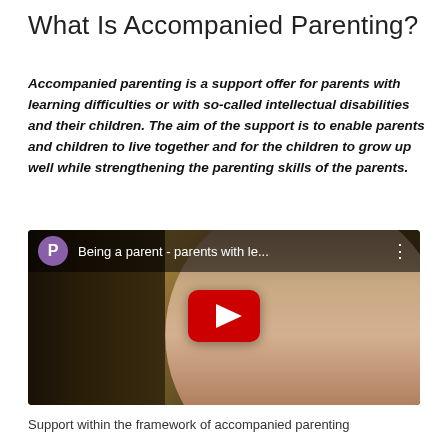What Is Accompanied Parenting?
Accompanied parenting is a support offer for parents with learning difficulties or with so-called intellectual disabilities and their children. The aim of the support is to enable parents and children to live together and for the children to grow up well while strengthening the parenting skills of the parents.
[Figure (screenshot): YouTube video thumbnail showing a woman speaking, with a red play button in the center. The video title reads 'Being a parent - parents with le...' and has a purple channel icon with letter P.]
Support within the framework of accompanied parenting